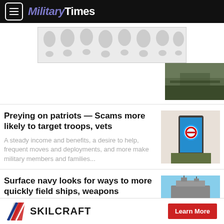Military Times
[Figure (other): Advertisement banner with teardrop/balloon pattern in gray]
[Figure (photo): Outdoor photo, dark landscape with trees and building]
Preying on patriots — Scams more likely to target troops, vets
A steady income and benefits, a desire to help, frequent moves and deployments, and more make military members and families...
[Figure (photo): Person holding a smartphone showing a Twitter scam alert notification]
Surface navy looks for ways to more quickly field ships, weapons
The Navy is too slow to get new ships and
[Figure (photo): Navy ship photographed from below against blue sky]
[Figure (logo): Skilcraft logo with diagonal stripe and Learn More button advertisement]